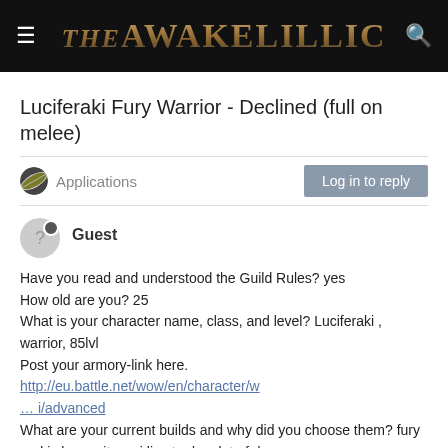The Awakening — site header with logo and navigation
Luciferaki Fury Warrior - Declined (full on melee)
Applications — Log in to reply
Guest
Have you read and understood the Guild Rules? yes
How old are you? 25
What is your character name, class, and level? Luciferaki , warrior, 85lvl
Post your armory-link here. http://eu.battle.net/wow/en/character/w… i/advanced
What are your current builds and why did you choose them? fury and i choose it cuz i live to do a lot of dps
Tell us what you know about the class and specc you play. Try to impress us with your knowledge! At least include:
1. Spell rotation or spell priority for your main specc. Healers give a